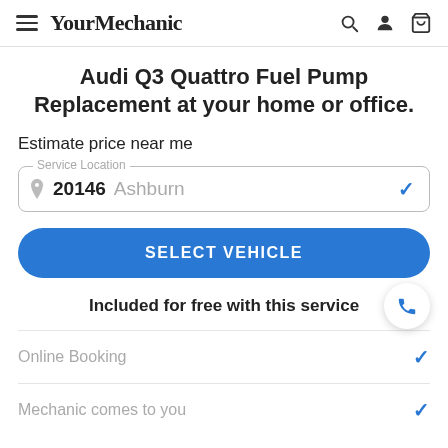YourMechanic
Audi Q3 Quattro Fuel Pump Replacement at your home or office.
Estimate price near me
Service Location: 20146 Ashburn
SELECT VEHICLE
Included for free with this service
Online Booking
Mechanic comes to you